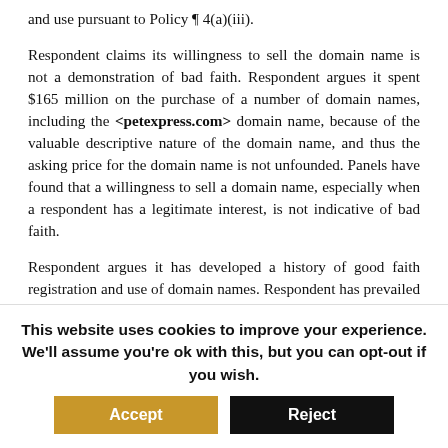and use pursuant to Policy ¶ 4(a)(iii).
Respondent claims its willingness to sell the domain name is not a demonstration of bad faith. Respondent argues it spent $165 million on the purchase of a number of domain names, including the <petexpress.com> domain name, because of the valuable descriptive nature of the domain name, and thus the asking price for the domain name is not unfounded. Panels have found that a willingness to sell a domain name, especially when a respondent has a legitimate interest, is not indicative of bad faith.
Respondent argues it has developed a history of good faith registration and use of domain names. Respondent has prevailed in all but three instances of
This website uses cookies to improve your experience. We'll assume you're ok with this, but you can opt-out if you wish.